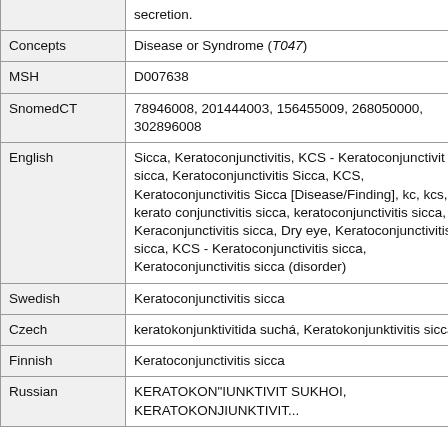| Category | Value |
| --- | --- |
|  | secretion. |
| Concepts | Disease or Syndrome (T047) |
| MSH | D007638 |
| SnomedCT | 78946008, 201444003, 156455009, 268050000, 302896008 |
| English | Sicca, Keratoconjunctivitis, KCS - Keratoconjunctivit sicca, Keratoconjunctivitis Sicca, KCS, Keratoconjunctivitis Sicca [Disease/Finding], kc, kcs, kerato conjunctivitis sicca, keratoconjunctivitis sicca, Keraconjunctivitis sicca, Dry eye, Keratoconjunctivitis sicca, KCS - Keratoconjunctivitis sicca, Keratoconjunctivitis sicca (disorder) |
| Swedish | Keratoconjunctivitis sicca |
| Czech | keratokonjunktivitida suchá, Keratokonjunktivitis sicca |
| Finnish | Keratoconjunctivitis sicca |
| Russian | KERATOKON"IUNKTIVIT SUKHOI, KERATOKONJIUNKTIVIT... |